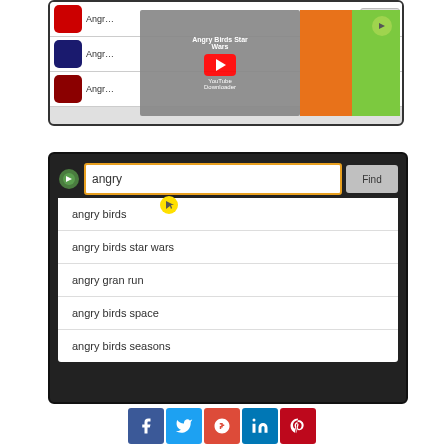[Figure (screenshot): Screenshot of an app store search results page showing Angry Birds apps with Install buttons, overlaid with a panel showing 'Angry Birds Star Wars' and a YouTube Downloader icon, alongside orange and green colored columns]
[Figure (screenshot): Screenshot of an app store search interface showing search box with 'angry' typed in, a Find button, and autocomplete dropdown suggestions: angry birds, angry birds star wars, angry gran run, angry birds space, angry birds seasons]
[Figure (infographic): Social media sharing buttons: Facebook (blue f), Twitter (bird), Google+ (g+), LinkedIn (in), Pinterest (p)]